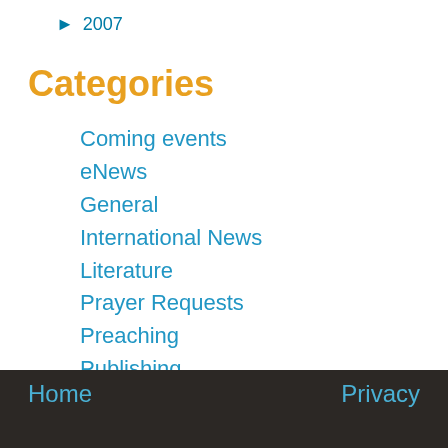► 2007
Categories
Coming events
eNews
General
International News
Literature
Prayer Requests
Preaching
Publishing
Scholars
Scholarship Applications
Seedbed
Uncategorized
Home    Privacy